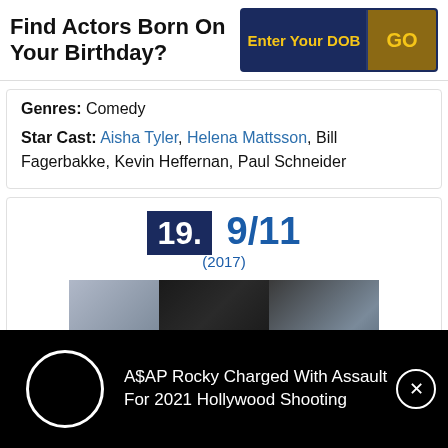Find Actors Born On Your Birthday?
Genres: Comedy
Star Cast: Aisha Tyler, Helena Mattsson, Bill Fagerbakke, Kevin Heffernan, Paul Schneider
19. 9/11 (2017)
[Figure (photo): Movie poster images for 9/11 (2017)]
A$AP Rocky Charged With Assault For 2021 Hollywood Shooting